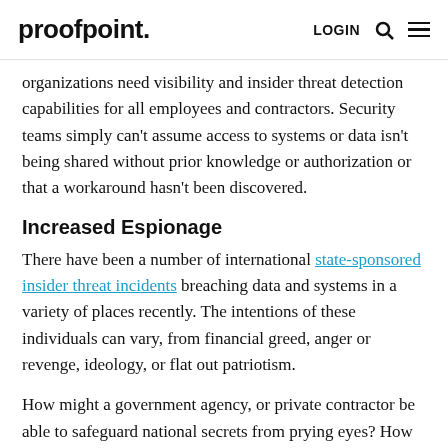proofpoint. LOGIN
organizations need visibility and insider threat detection capabilities for all employees and contractors. Security teams simply can't assume access to systems or data isn't being shared without prior knowledge or authorization or that a workaround hasn't been discovered.
Increased Espionage
There have been a number of international state-sponsored insider threat incidents breaching data and systems in a variety of places recently. The intentions of these individuals can vary, from financial greed, anger or revenge, ideology, or flat out patriotism.
How might a government agency, or private contractor be able to safeguard national secrets from prying eyes? How might they be able to determine a true insider threat from just regular activity? (Hint: with insider threat management